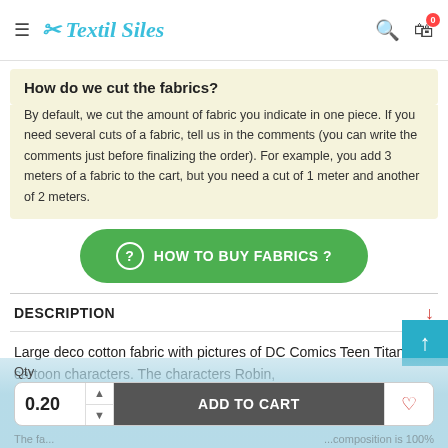Textil Siles
How do we cut the fabrics?
By default, we cut the amount of fabric you indicate in one piece. If you need several cuts of a fabric, tell us in the comments (you can write the comments just before finalizing the order). For example, you add 3 meters of a fabric to the cart, but you need a cut of 1 meter and another of 2 meters.
HOW TO BUY FABRICS ?
DESCRIPTION
Large deco cotton fabric with pictures of DC Comics Teen Titans cartoon characters. The characters Robin, Raven, Starfire, Cyborg and Beast Boy...